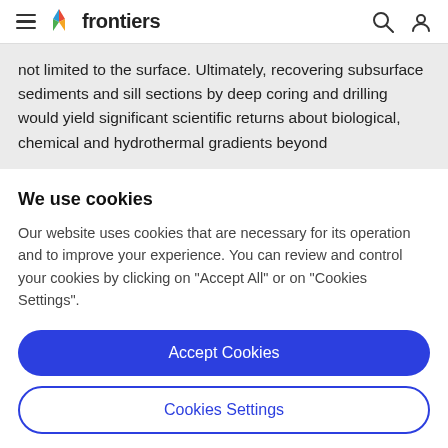frontiers
not limited to the surface. Ultimately, recovering subsurface sediments and sill sections by deep coring and drilling would yield significant scientific returns about biological, chemical and hydrothermal gradients beyond
We use cookies
Our website uses cookies that are necessary for its operation and to improve your experience. You can review and control your cookies by clicking on "Accept All" or on "Cookies Settings".
Accept Cookies
Cookies Settings